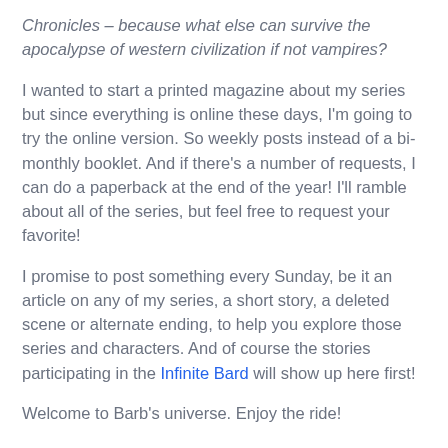Chronicles – because what else can survive the apocalypse of western civilization if not vampires?
I wanted to start a printed magazine about my series but since everything is online these days, I'm going to try the online version. So weekly posts instead of a bi-monthly booklet. And if there's a number of requests, I can do a paperback at the end of the year! I'll ramble about all of the series, but feel free to request your favorite!
I promise to post something every Sunday, be it an article on any of my series, a short story, a deleted scene or alternate ending, to help you explore those series and characters. And of course the stories participating in the Infinite Bard will show up here first!
Welcome to Barb's universe. Enjoy the ride!